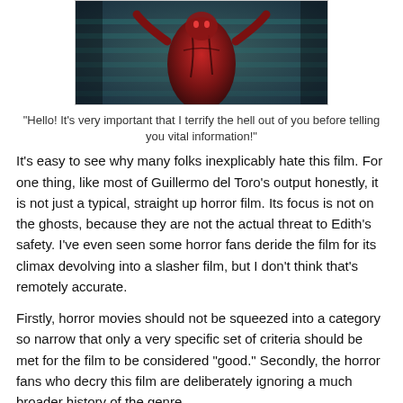[Figure (photo): A dark horror movie still showing a monstrous red figure with arms raised, in a dimly lit scene with teal/blue background tones.]
"Hello! It's very important that I terrify the hell out of you before telling you vital information!"
It's easy to see why many folks inexplicably hate this film. For one thing, like most of Guillermo del Toro's output honestly, it is not just a typical, straight up horror film. Its focus is not on the ghosts, because they are not the actual threat to Edith's safety. I've even seen some horror fans deride the film for its climax devolving into a slasher film, but I don't think that's remotely accurate.
Firstly, horror movies should not be squeezed into a category so narrow that only a very specific set of criteria should be met for the film to be considered "good." Secondly, the horror fans who decry this film are deliberately ignoring a much broader history of the genre.
Del Toro has said he took inspiration from Mario Bava when